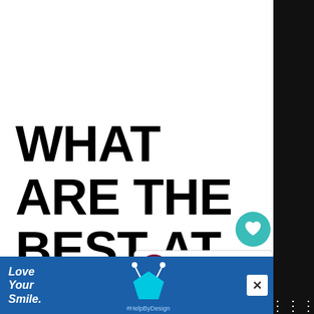WHAT ARE THE BEST AT HOME KIDS GAMES, ACTIVITIES, AND TOYS?
1
WHAT'S NEXT → Fun Travel Activities for...
[Figure (screenshot): Blue advertisement banner at bottom: 'Love Your Smile.' with a cyan pentagon graphic and #HelpByDesign hashtag]
[Figure (other): Black right sidebar strip with Pinterest and other social sharing buttons]